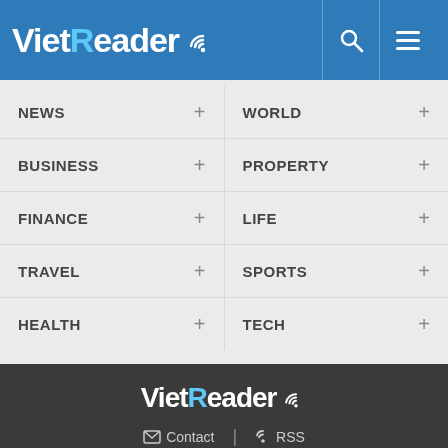[Figure (logo): VietReader logo on blue header bar with search and menu icons]
NEWS +   WORLD +
BUSINESS +   PROPERTY +
FINANCE +   LIFE +
TRAVEL +   SPORTS +
HEALTH +   TECH +
[Figure (logo): VietReader logo in footer on dark background]
✉ Contact | )) RSS
© Copyright 2015; VietReader - Breaking News, Latest World News Updates
Editor - in - Chief: Nguyen Truong Son
Email : vietreaderdotcom@gmail.com